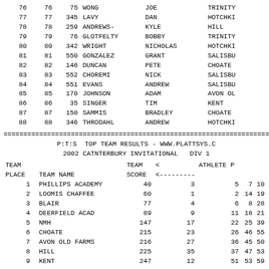| # | # | BIB | LAST | FIRST | SCHOOL |
| --- | --- | --- | --- | --- | --- |
| 76 | 76 | 75 | WONG | JOE | TRINITY |
| 77 | 77 | 345 | LAVY | DAN | HOTCHK... |
| 78 | 78 | 259 | ANDREWS- | KYLE | HILL |
| 79 | 79 | 76 | GLOTFELTY | BOBBY | TRINITY |
| 80 | 80 | 342 | WRIGHT | NICHOLAS | HOTCHK... |
| 81 | 81 | 550 | GONZALEZ | GRANT | SALISBU... |
| 82 | 82 | 146 | DUNCAN | PETE | CHOATE |
| 83 | 83 | 552 | CHOREMI | NICK | SALISBU... |
| 84 | 84 | 551 | EVANS | ANDREW | SALISBU... |
| 85 | 85 | 170 | JOHNSON | ADAM | AVON OL... |
| 86 | 86 | 35 | SINGER | TIM | KENT |
| 87 | 87 | 150 | SAMMIS | BRADLEY | CHOATE |
| 88 | 88 | 346 | THRODAHL | ANDREW | HOTCHK... |
========================================
P:T:S  TOP TEAM RESULTS - WWW.PLATTSYS.C
2002 CATNTERBURY INVITATIONAL   DIV 1
| TEAM PLACE | TEAM NAME | TEAM SCORE | < | ATHLETE PLACES... |
| --- | --- | --- | --- | --- |
| 1 | PHILLIPS ACADEMY | 40 | 3 | 5 | 7 | 10... |
| 2 | LOOMIS CHAFFEE | 60 | 1 | 2 | 14 | 19... |
| 3 | BLAIR | 77 | 4 | 6 | 8 | 28... |
| 4 | DEERFIELD ACAD | 89 | 9 | 11 | 18 | 21... |
| 5 | NMH | 147 | 17 | 22 | 25 | 39... |
| 6 | CHOATE | 215 | 23 | 26 | 46 | 55... |
| 7 | AVON OLD FARMS | 216 | 27 | 36 | 45 | 50... |
| 8 | HILL | 225 | 35 | 37 | 47 | 53... |
| 9 | KENT | 247 | 12 | 51 | 53 | 59... |